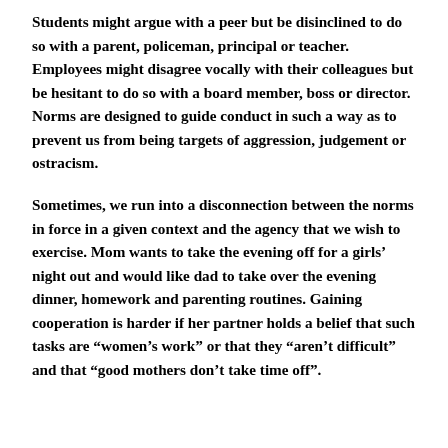Students might argue with a peer but be disinclined to do so with a parent, policeman, principal or teacher. Employees might disagree vocally with their colleagues but be hesitant to do so with a board member, boss or director. Norms are designed to guide conduct in such a way as to prevent us from being targets of aggression, judgement or ostracism.
Sometimes, we run into a disconnection between the norms in force in a given context and the agency that we wish to exercise. Mom wants to take the evening off for a girls’ night out and would like dad to take over the evening dinner, homework and parenting routines. Gaining cooperation is harder if her partner holds a belief that such tasks are “women’s work” or that they “aren’t difficult” and that “good mothers don’t take time off”.